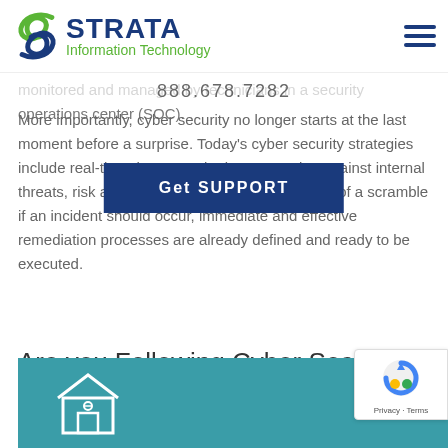[Figure (logo): Strata Information Technology logo with green swirl graphic and blue/green text]
monitored and managed by technicians in a security operations center (SOC).
888.678.7282
Get SUPPORT
More importantly, cyber security no longer starts at the last moment before a surprise. Today's cyber security strategies include real-time threat monitoring, protection against internal threats, risk assessment and more. And instead of a scramble if an incident should occur, immediate and effective remediation processes are already defined and ready to be executed.
Are you Following Cyber Security Best Practices?
[Figure (illustration): Teal background panel with a white outline store/shop icon]